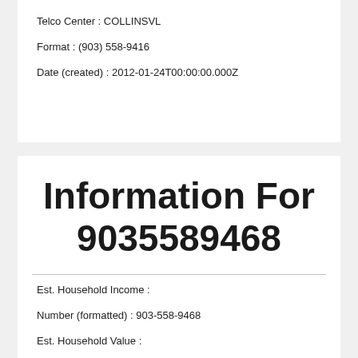Telco Center:  COLLINSVL
Format:  (903) 558-9416
Date (created):  2012-01-24T00:00:00.000Z
Information For 9035589468
Est. Household Income:
Number (formatted):  903-558-9468
Est. Household Value: